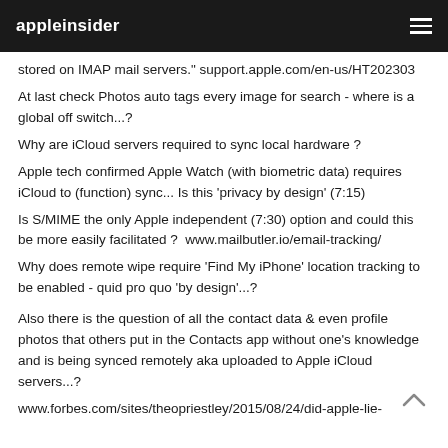appleinsider
stored on IMAP mail servers." support.apple.com/en-us/HT202303
At last check Photos auto tags every image for search - where is a global off switch...?
Why are iCloud servers required to sync local hardware ?
Apple tech confirmed Apple Watch (with biometric data) requires iCloud to (function) sync... Is this 'privacy by design' (7:15)
Is S/MIME the only Apple independent (7:30) option and could this be more easily facilitated ?  www.mailbutler.io/email-tracking/
Why does remote wipe require 'Find My iPhone' location tracking to be enabled - quid pro quo 'by design'...?
Also there is the question of all the contact data & even profile photos that others put in the Contacts app without one's knowledge and is being synced remotely aka uploaded to Apple iCloud servers...?
www.forbes.com/sites/theopriestley/2015/08/24/did-apple-lie-